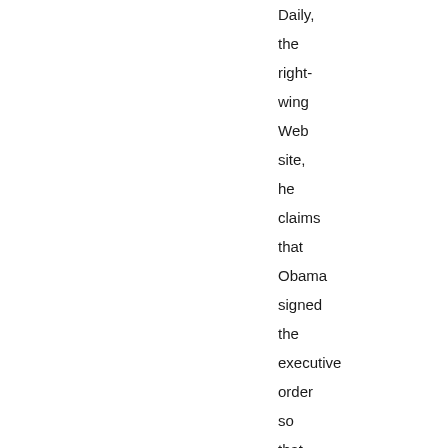Daily, the right- wing Web site, he claims that Obama signed the executive order so that he can slyly, without